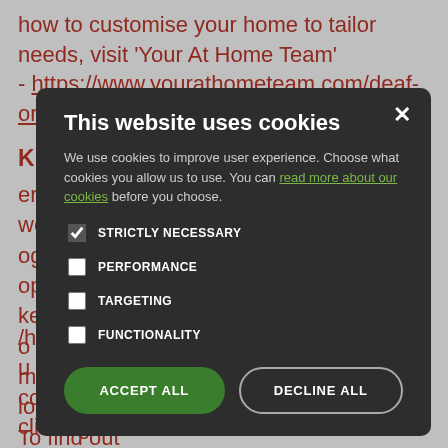how to customise your home to tailor needs, visit 'Your At Home Team'
- https://www.yourathometeam.com/deaf-or-hard-of-hearing-home-improvements/
Kirklees Wellness Service
[Figure (screenshot): Cookie consent modal dialog with dark background. Title: 'This website uses cookies'. Body text: 'We use cookies to improve user experience. Choose what cookies you allow us to use. You can read more about our cookies before you choose.' Checkboxes: STRICTLY NECESSARY (checked), PERFORMANCE, TARGETING, FUNCTIONALITY. Buttons: ACCEPT ALL (green), DECLINE ALL (outline). Close X button top right.]
erring scheme wellbeing. ogramme to ople aged 18 ke a change to o improve mprove mental long term To find out
/health-and- u will need to complete the form, which can be found by clicking the